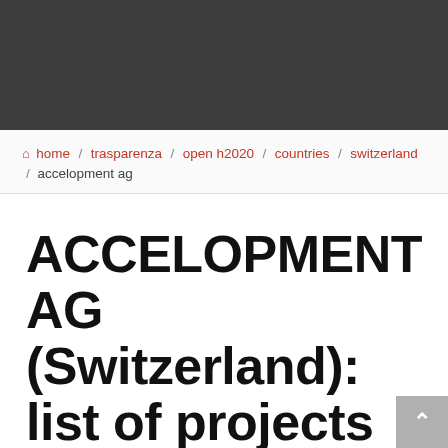home / trasparenza / open h2020 / countries / switzerland / accelopment ag
ACCELOPMENT AG (Switzerland): list of projects
The following table shows the list of Horizon 2020 projects